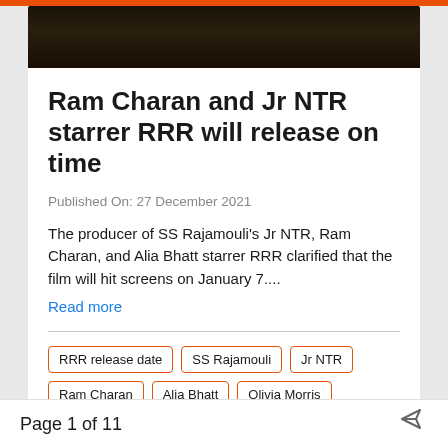[Figure (photo): Dark background image, cinematic/evening scene]
Ram Charan and Jr NTR starrer RRR will release on time
Published On: 27 December 2021
The producer of SS Rajamouli's Jr NTR, Ram Charan, and Alia Bhatt starrer RRR clarified that the film will hit screens on January 7....
Read more
RRR release date
SS Rajamouli
Jr NTR
Ram Charan
Alia Bhatt
Olivia Morris
Alison Doody
Ajay Devgn
Shriya Saran
Page 1 of 11